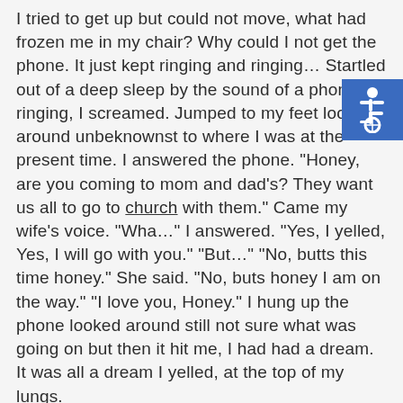I tried to get up but could not move, what had frozen me in my chair? Why could I not get the phone. It just kept ringing and ringing… Startled out of a deep sleep by the sound of a phone ringing, I screamed. Jumped to my feet looked around unbeknownst to where I was at the present time. I answered the phone. "Honey, are you coming to mom and dad's? They want us all to go to church with them." Came my wife's voice. "Wha…" I answered. "Yes, I yelled, Yes, I will go with you." "But…" "No, butts this time honey." She said. "No, buts honey I am on the way." "I love you, Honey." I hung up the phone looked around still not sure what was going on but then it hit me, I had had a dream. It was all a dream I yelled, at the top of my lungs.
[Figure (illustration): Blue accessibility (wheelchair) icon in top-right corner]